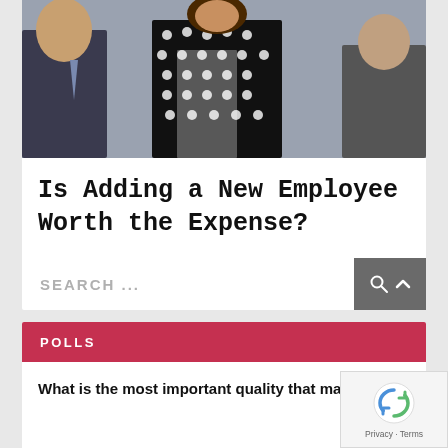[Figure (photo): Group of business people in professional attire; a woman in a black and white polka dot dress is in the foreground.]
Is Adding a New Employee Worth the Expense?
SEARCH ...
POLLS
What is the most important quality that makes a